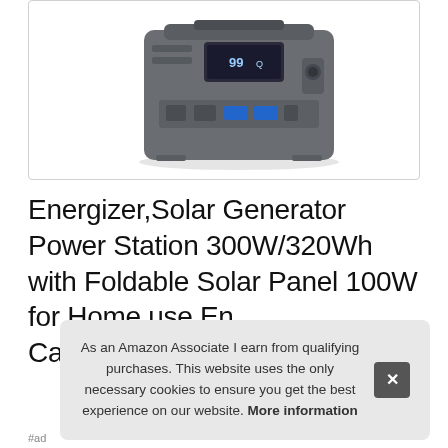[Figure (photo): A gray portable power station/solar generator device with digital display showing 99, USB ports, AC outlets, and carrying handle. Product photo on white background inside a bordered box.]
Energizer,Solar Generator Power Station 300W/320Wh with Foldable Solar Panel 100W for Home use En... Ca...
As an Amazon Associate I earn from qualifying purchases. This website uses the only necessary cookies to ensure you get the best experience on our website. More information
#ad